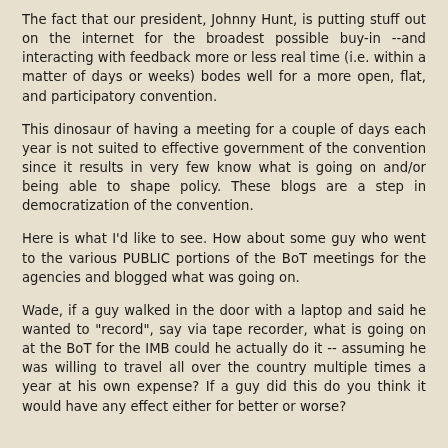The fact that our president, Johnny Hunt, is putting stuff out on the internet for the broadest possible buy-in --and interacting with feedback more or less real time (i.e. within a matter of days or weeks) bodes well for a more open, flat, and participatory convention.
This dinosaur of having a meeting for a couple of days each year is not suited to effective government of the convention since it results in very few know what is going on and/or being able to shape policy. These blogs are a step in democratization of the convention.
Here is what I'd like to see. How about some guy who went to the various PUBLIC portions of the BoT meetings for the agencies and blogged what was going on.
Wade, if a guy walked in the door with a laptop and said he wanted to "record", say via tape recorder, what is going on at the BoT for the IMB could he actually do it -- assuming he was willing to travel all over the country multiple times a year at his own expense? If a guy did this do you think it would have any effect either for better or worse?